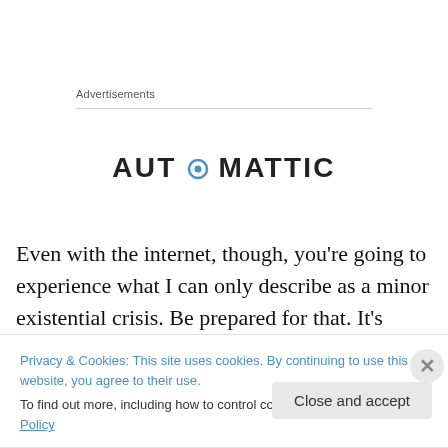Advertisements
[Figure (logo): AUTOMATTIC logo with circular icon replacing the letter O]
Even with the internet, though, you're going to experience what I can only describe as a minor existential crisis. Be prepared for that. It's pretty much inevitable, and the majority of TCKs seem to go through it. When things finally slow down, you're going to wake up one day and think
Privacy & Cookies: This site uses cookies. By continuing to use this website, you agree to their use.
To find out more, including how to control cookies, see here: Cookie Policy